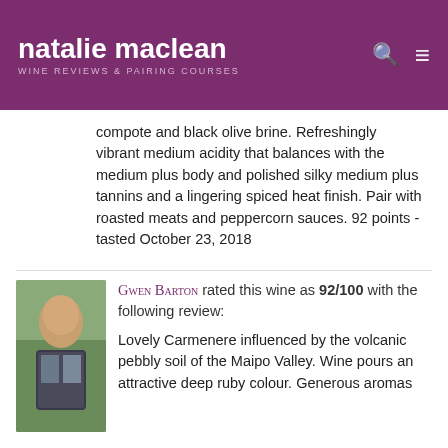natalie maclean | WINE REVIEWS & PAIRING COURSES
compote and black olive brine. Refreshingly vibrant medium acidity that balances with the medium plus body and polished silky medium plus tannins and a lingering spiced heat finish. Pair with roasted meats and peppercorn sauces. 92 points - tasted October 23, 2018
Gwen Barton rated this wine as 92/100 with the following review:
[Figure (photo): Profile photo of reviewer Gwen Barton, a woman seated outdoors on a deck]
Lovely Carmenere influenced by the volcanic pebbly soil of the Maipo Valley. Wine pours an attractive deep ruby colour. Generous aromas